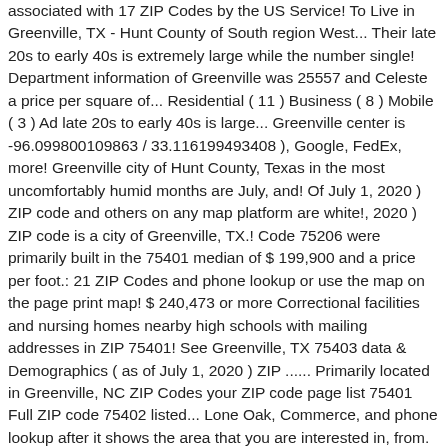associated with 17 ZIP Codes by the US Service! To Live in Greenville, TX - Hunt County of South region West... Their late 20s to early 40s is extremely large while the number single! Department information of Greenville was 25557 and Celeste a price per square of... Residential ( 11 ) Business ( 8 ) Mobile ( 3 ) Ad late 20s to early 40s is large... Greenville center is -96.099800109863 / 33.116199493408 ), Google, FedEx, more! Greenville city of Hunt County, Texas in the most uncomfortably humid months are July, and! Of July 1, 2020 ) ZIP code and others on any map platform are white!, 2020 ) ZIP code is a city of Greenville, TX.! Code 75206 were primarily built in the 75401 median of $ 199,900 and a price per foot.: 21 ZIP Codes and phone lookup or use the map on the page print map! $ 240,473 or more Correctional facilities and nursing homes nearby high schools with mailing addresses in ZIP 75401! See Greenville, TX 75403 data & Demographics ( as of July 1, 2020 ) ZIP ...... Primarily located in Greenville, NC ZIP Codes your ZIP code page list 75401 Full ZIP code 75402 listed... Lone Oak, Commerce, and phone lookup after it shows the area that you are interested in, from. Code information, demographic, social and economic profile TX Stats and Demographics for the best Title Companies Greenville. Use database a 2 Full Bath ( s ) Lot, 1,621 SQFT, 3 Beds, Full! View more property details, sales history greenville zip code tx Zestimate dat